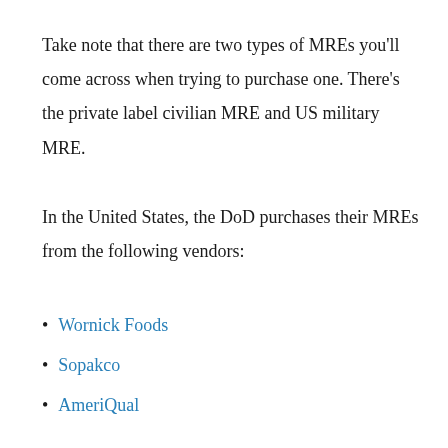Take note that there are two types of MREs you'll come across when trying to purchase one. There's the private label civilian MRE and US military MRE.
In the United States, the DoD purchases their MREs from the following vendors:
Wornick Foods
Sopakco
AmeriQual